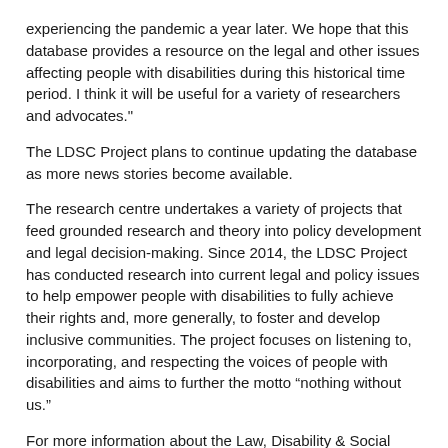experiencing the pandemic a year later. We hope that this database provides a resource on the legal and other issues affecting people with disabilities during this historical time period. I think it will be useful for a variety of researchers and advocates."
The LDSC Project plans to continue updating the database as more news stories become available.
The research centre undertakes a variety of projects that feed grounded research and theory into policy development and legal decision-making. Since 2014, the LDSC Project has conducted research into current legal and policy issues to help empower people with disabilities to fully achieve their rights and, more generally, to foster and develop inclusive communities. The project focuses on listening to, incorporating, and respecting the voices of people with disabilities and aims to further the motto “nothing without us.”
For more information about the Law, Disability & Social Change Project, visit its website.